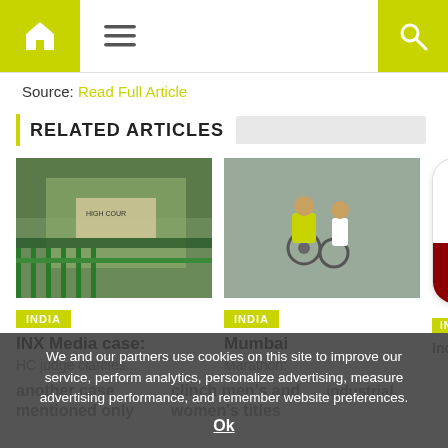Navigation bar with home icon, menu icon, and search icon
Source: Read Full Article
RELATED ARTICLES
[Figure (photo): Delhi High Court building exterior with green fence]
[Figure (photo): Mumbai Marathon runners including cyclist and runner in yellow vest]
[Figure (logo): India News HD logo - red and white rounded square app icon]
INDIA
INX Media case:
INDIA
Mumbai Marathon:
INDIA
IndoSpace opens
HC judge clarifies...another case mentioned only
Marathon: Kenyans clinch men's and women's titles
IndoSpace opens industrial,
We and our partners use cookies on this site to improve our service, perform analytics, personalize advertising, measure advertising performance, and remember website preferences.